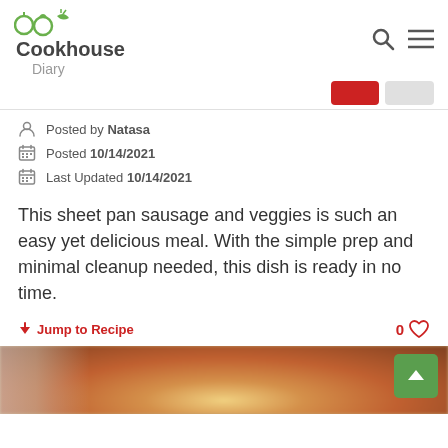Cookhouse Diary
Posted by Natasa
Posted 10/14/2021
Last Updated 10/14/2021
This sheet pan sausage and veggies is such an easy yet delicious meal. With the simple prep and minimal cleanup needed, this dish is ready in no time.
Jump to Recipe
0
[Figure (photo): Blurred photo of sheet pan sausage and vegetables dish in a white bowl, viewed from above]